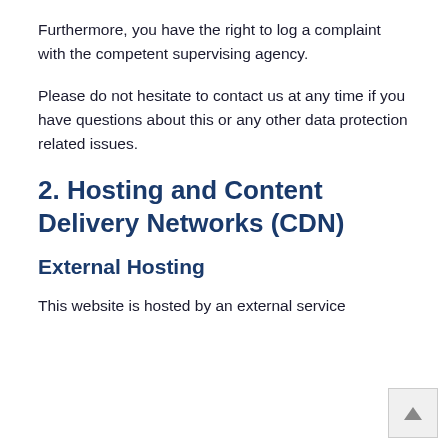Furthermore, you have the right to log a complaint with the competent supervising agency.
Please do not hesitate to contact us at any time if you have questions about this or any other data protection related issues.
2. Hosting and Content Delivery Networks (CDN)
External Hosting
This website is hosted by an external service